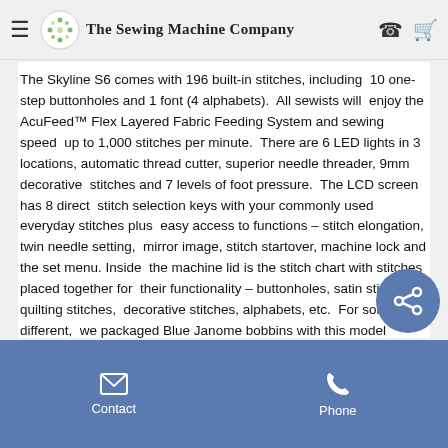The Sewing Machine Company
The Skyline S6 comes with 196 built-in stitches, including 10 one-step buttonholes and 1 font (4 alphabets). All sewists will enjoy the AcuFeed™ Flex Layered Fabric Feeding System and sewing speed up to 1,000 stitches per minute. There are 6 LED lights in 3 locations, automatic thread cutter, superior needle threader, 9mm decorative stitches and 7 levels of foot pressure. The LCD screen has 8 direct stitch selection keys with your commonly used everyday stitches plus easy access to functions – stitch elongation, twin needle setting, mirror image, stitch startover, machine lock and the set menu. Inside the machine lid is the stitch chart with stitches placed together for their functionality – buttonholes, satin stitches, quilting stitches, decorative stitches, alphabets, etc. For something different, we packaged Blue Janome bobbins with this model features on this model have been created with the sewist in mind sit, sew and enjoy.
Contact  Phone